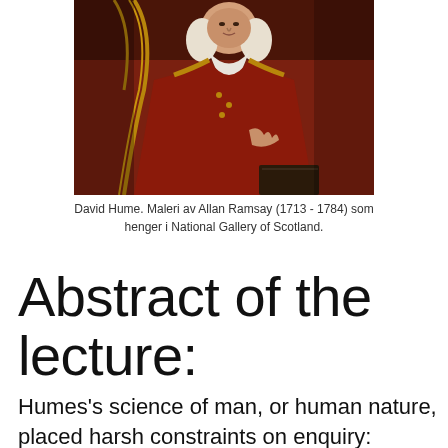[Figure (photo): Portrait painting of David Hume in red robe with gold details, painted by Allan Ramsay]
David Hume. Maleri av Allan Ramsay (1713 - 1784) som henger i National Gallery of Scotland.
Abstract of the lecture:
Humes's science of man, or human nature, placed harsh constraints on enquiry: nothing could go beyond experience. The methodology of history was an illustration of these